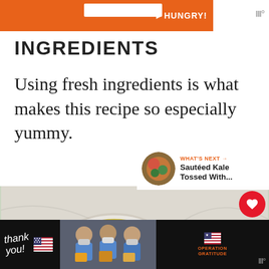[Figure (screenshot): Orange advertisement banner at top with white rectangle and HUNGRY! text in white]
INGREDIENTS
Using fresh ingredients is what makes this recipe so especially yummy.
[Figure (photo): Overhead photo of bowl with olive oil and bowl of broccoli on marble surface]
[Figure (screenshot): What's Next overlay showing Sautéed Kale Tossed With... with circular thumbnail]
[Figure (screenshot): Bottom advertisement banner - Operation Gratitude with thank you text, flag, healthcare workers photo]